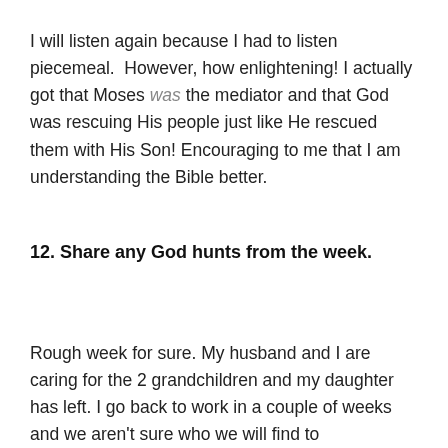I will listen again because I had to listen piecemeal. However, how enlightening! I actually got that Moses was the mediator and that God was rescuing His people just like He rescued them with His Son! Encouraging to me that I am understanding the Bible better.
12. Share any God hunts from the week.
Rough week for sure. My husband and I are caring for the 2 grandchildren and my daughter has left. I go back to work in a couple of weeks and we aren't sure who we will find to